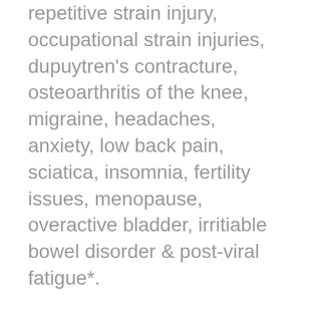repetitive strain injury, occupational strain injuries, dupuytren's contracture, osteoarthritis of the knee, migraine, headaches, anxiety, low back pain, sciatica, insomnia, fertility issues, menopause, overactive bladder, irritiable bowel disorder & post-viral fatigue*.
Emotional and physical stresses can underly many of our health concerns. Treatment is based on the East Asian method of addressing the root causes of disharmony and imbalance within